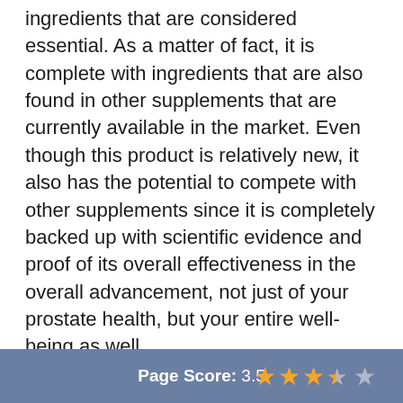ingredients that are considered essential. As a matter of fact, it is complete with ingredients that are also found in other supplements that are currently available in the market. Even though this product is relatively new, it also has the potential to compete with other supplements since it is completely backed up with scientific evidence and proof of its overall effectiveness in the overall advancement, not just of your prostate health, but your entire well-being as well.
Page Score: 3.5 ★★★★☆